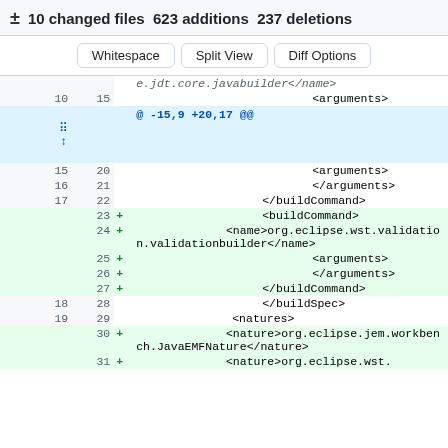± 10 changed files 623 additions 237 deletions
[Figure (screenshot): GitHub diff view buttons: Whitespace, Split View, Diff Options]
| old | new |  | code |
| --- | --- | --- | --- |
|  |  |  | e.jdt.core.javabuilder</name> |
| 10 | 15 |  | <arguments> |
|  |  |  | @ -15,9 +20,17 @@ |
| 15 | 20 |  | <arguments> |
| 16 | 21 |  | </arguments> |
| 17 | 22 |  | </buildCommand> |
|  | 23 | + | <buildCommand> |
|  | 24 | + | <name>org.eclipse.wst.validation.validationbuilder</name> |
|  | 25 | + | <arguments> |
|  | 26 | + | </arguments> |
|  | 27 | + | </buildCommand> |
| 18 | 28 |  | </buildSpec> |
| 19 | 29 |  | <natures> |
|  | 30 | + | <nature>org.eclipse.jem.workbench.JavaEMFNature</nature> |
|  | 31 | + | <nature>org.eclipse.wst. |